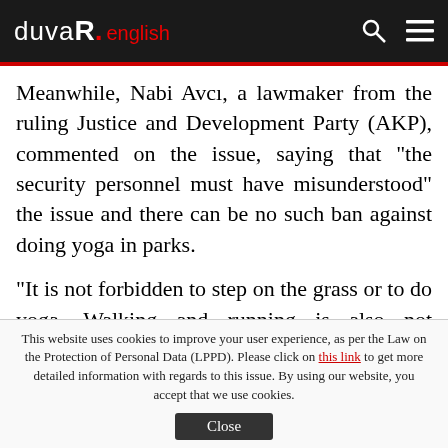duvaR. english
Meanwhile, Nabi Avcı, a lawmaker from the ruling Justice and Development Party (AKP), commented on the issue, saying that "the security personnel must have misunderstood" the issue and there can be no such ban against doing yoga in parks.
"It is not forbidden to step on the grass or to do yoga. Walking and running is also not prohibited. Celebrating a birthday is not prohibited, nor is it forbidden to listen to
This website uses cookies to improve your user experience, as per the Law on the Protection of Personal Data (LPPD). Please click on this link to get more detailed information with regards to this issue. By using our website, you accept that we use cookies.